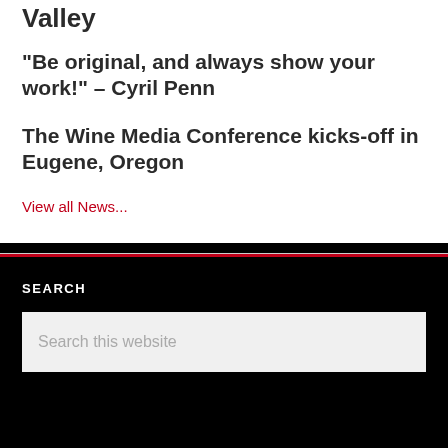Valley
“Be original, and always show your work!” – Cyril Penn
The Wine Media Conference kicks-off in Eugene, Oregon
View all News...
SEARCH
Search this website